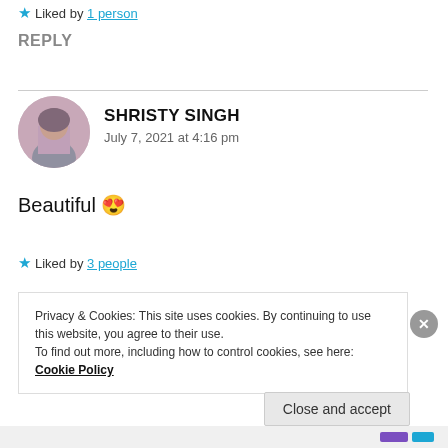★ Liked by 1 person
REPLY
SHRISTY SINGH — July 7, 2021 at 4:16 pm
Beautiful 😍
★ Liked by 3 people
Privacy & Cookies: This site uses cookies. By continuing to use this website, you agree to their use. To find out more, including how to control cookies, see here: Cookie Policy
Close and accept